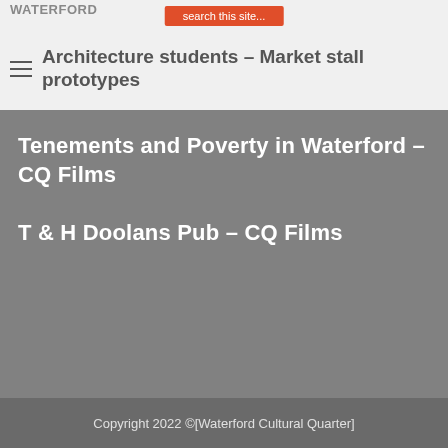Architecture students – Market stall prototypes
Tenements and Poverty in Waterford – CQ Films
T & H Doolans Pub – CQ Films
Copyright 2022 ©[Waterford Cultural Quarter]